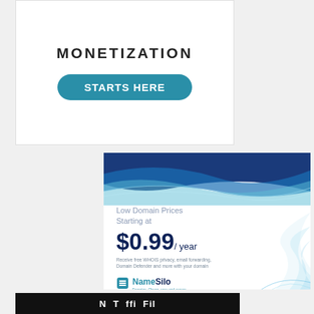[Figure (infographic): White advertisement box with 'MONETIZATION' heading and a teal rounded button labeled 'STARTS HERE']
[Figure (infographic): NameSilo domain registrar advertisement. Blue wave background at top, text 'Low Domain Prices Starting at $0.99/ year', tagline about free WHOIS privacy, email forwarding, Domain Defender, and NameSilo logo at bottom.]
[Figure (infographic): Black banner with white text partially visible at the bottom of the page.]